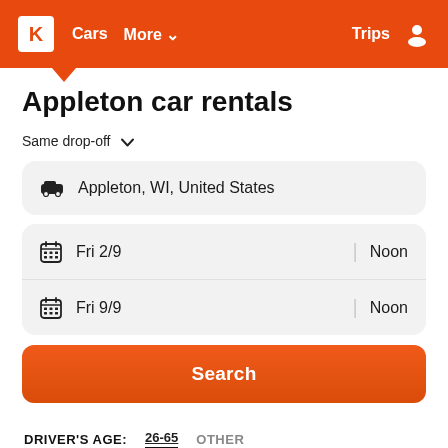K  Cars  More  Trips
Appleton car rentals
Same drop-off
Appleton, WI, United States
Fri 2/9  |  Noon
Fri 9/9  |  Noon
Search
DRIVER'S AGE: 26-65  OTHER